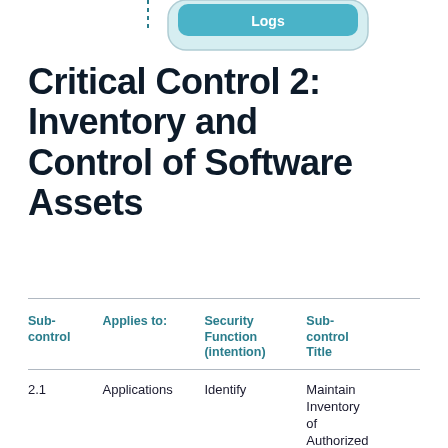[Figure (schematic): Partial view of a diagram showing a rounded rectangle shape with 'Logs' label in teal/cyan color, with a dotted vertical line on the left side. This appears to be the bottom portion of a larger diagram from the previous page.]
Critical Control 2: Inventory and Control of Software Assets
| Sub-control | Applies to: | Security Function (intention) | Sub-control Title |
| --- | --- | --- | --- |
| 2.1 | Applications | Identify | Maintain Inventory of Authorized Software |